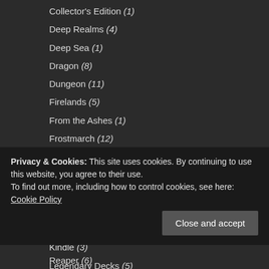Collector's Edition (1)
Deep Realms (4)
Deep Sea (1)
Dragon (8)
Dungeon (11)
Firelands (5)
From the Ashes (1)
Frostmarch (12)
Gold Pack (1)
Harbinger (4)
Highland (11)
iOS (51)
iPad (2)
Kindle (3)
Legendary Decks (5)
Privacy & Cookies: This site uses cookies. By continuing to use this website, you agree to their use. To find out more, including how to control cookies, see here: Cookie Policy
Reaper (6)